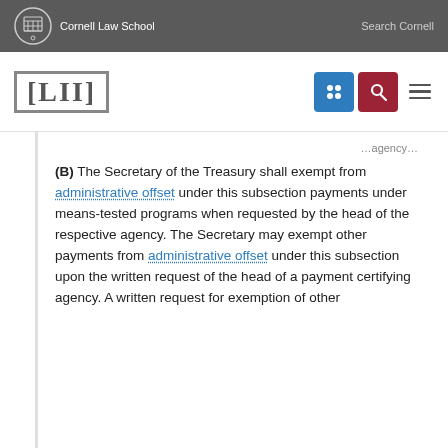Cornell Law School    Search Cornell
[Figure (logo): LII Legal Information Institute logo with navigation icons]
(B) The Secretary of the Treasury shall exempt from administrative offset under this subsection payments under means-tested programs when requested by the head of the respective agency. The Secretary may exempt other payments from administrative offset under this subsection upon the written request of the head of a payment certifying agency. A written request for exemption of other